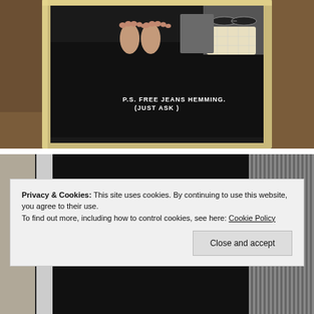[Figure (photo): A mirror selfie photo showing bare feet standing on a dark mat/floor inside what appears to be a fitting room or dressing area. The mirror frame is silver/gold colored. Text on the mirror reads 'P.S. FREE JEANS HEMMING. (JUST ASK )'. A gray bag and sunglasses and a quilted white/cream purse are visible in the reflection on a shelf.]
[Figure (photo): A partial mirror selfie photo showing a person dressed in black clothing, with a hand visible. A striped or slatted surface is visible on the right side of the image.]
Privacy & Cookies: This site uses cookies. By continuing to use this website, you agree to their use.
To find out more, including how to control cookies, see here: Cookie Policy
Close and accept